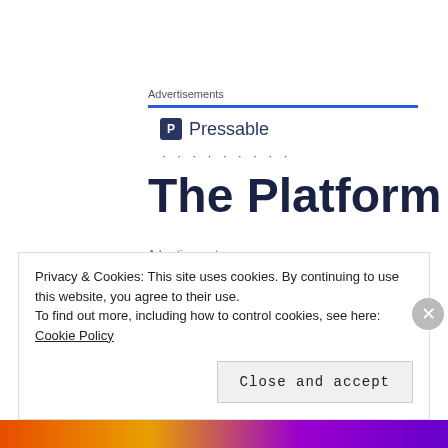Advertisements
[Figure (logo): Pressable logo with shield icon and 'Pressable' text in dark navy]
· · · · · · · · ·
The Platform
Advertisements
[Figure (logo): P2 logo: dark navy square with white grid-square icon and 'P2' text]
Privacy & Cookies: This site uses cookies. By continuing to use this website, you agree to their use.
To find out more, including how to control cookies, see here: Cookie Policy
Close and accept